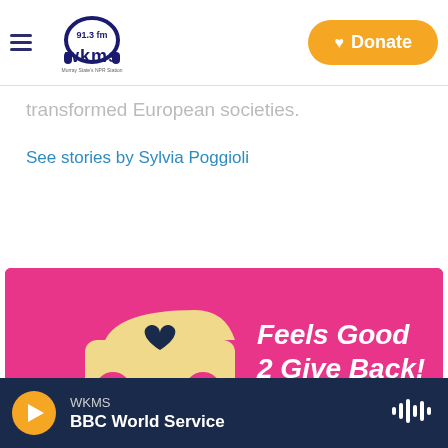WKMS 91.3 FM — Murray State's NPR Station | Donate
transformed European societies.
See stories by Sylvia Poggioli
[Figure (illustration): Pink banner advertisement with illustrated car with heart on it resting on a hand, text reads 'Feels Good 2 Give Back!']
WKMS | BBC World Service